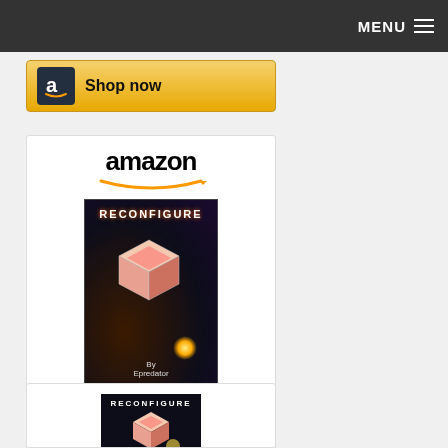MENU
[Figure (screenshot): Amazon 'Shop now' button with Amazon 'a' logo icon on golden gradient background]
[Figure (screenshot): Amazon product listing card showing 'Reconfigure' book by Epredator with amazon logo, book cover image, price $11.99, Prime badge, and Shop now button]
[Figure (screenshot): Partial second Amazon product card showing Reconfigure book cover at bottom of page]